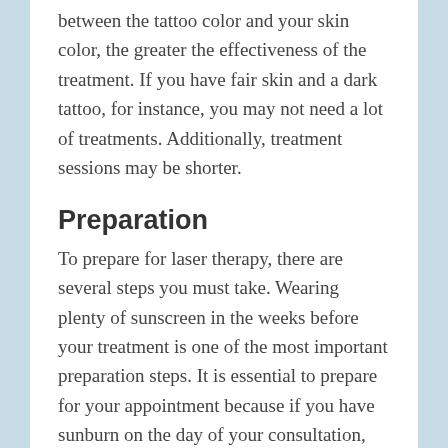between the tattoo color and your skin color, the greater the effectiveness of the treatment. If you have fair skin and a dark tattoo, for instance, you may not need a lot of treatments. Additionally, treatment sessions may be shorter.
Preparation
To prepare for laser therapy, there are several steps you must take. Wearing plenty of sunscreen in the weeks before your treatment is one of the most important preparation steps. It is essential to prepare for your appointment because if you have sunburn on the day of your consultation, you will need to reschedule. It is important to use sunscreen that has a